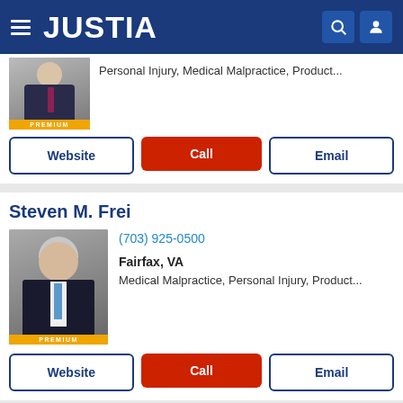[Figure (screenshot): Justia website header with hamburger menu, Justia logo, search and user icons on dark blue background]
Personal Injury, Medical Malpractice, Product...
Website | Call | Email buttons
Steven M. Frei
[Figure (photo): Professional headshot of Steven M. Frei, older male attorney with gray hair, dark suit, blue tie, with PREMIUM badge]
(703) 925-0500
Fairfax, VA
Medical Malpractice, Personal Injury, Product...
Website | Call | Email buttons
Justia Ask a Lawyer is a forum for consumers to get answers to basic legal questions. Any information sent through Justia Ask a